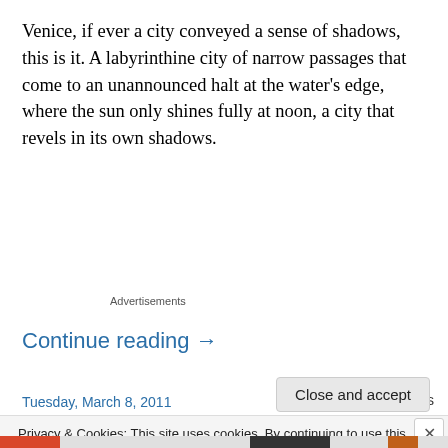Venice, if ever a city conveyed a sense of shadows, this is it. A labyrinthine city of narrow passages that come to an unannounced halt at the water's edge, where the sun only shines fully at noon, a city that revels in its own shadows.
Advertisements
Continue reading →
Tuesday, March 8, 2011
38 Replies
Privacy & Cookies: This site uses cookies. By continuing to use this website, you agree to their use.
To find out more, including how to control cookies, see here: Cookie Policy
Close and accept